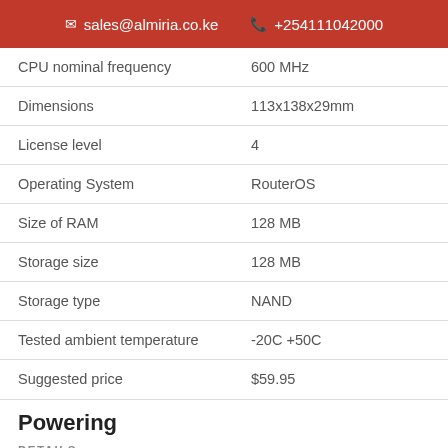✉ sales@almiria.co.ke  📞 +254111042000
| Property | Value |
| --- | --- |
| CPU nominal frequency | 600 MHz |
| Dimensions | 113x138x29mm |
| License level | 4 |
| Operating System | RouterOS |
| Size of RAM | 128 MB |
| Storage size | 128 MB |
| Storage type | NAND |
| Tested ambient temperature | -20C +50C |
| Suggested price | $59.95 |
Powering
DETAILS
Max Power consumption   Up to 7W